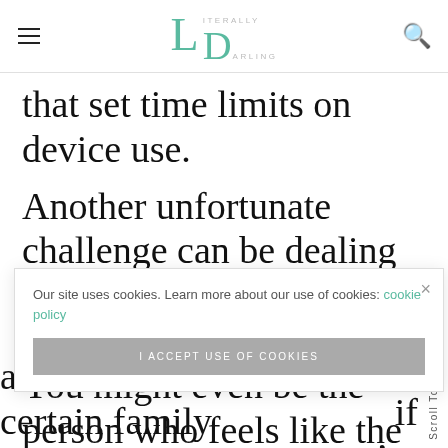Literally Darling
that set time limits on device use.
Another unfortunate challenge can be dealing with a family where everyone doesn't “fit in.” You might even be the person who feels like the black sheep.
nce to go
if you're
a toxic environment with certain family
Our site uses cookies. Learn more about our use of cookies: cookie policy
I ACCEPT USE OF COOKIES
Scroll To Top